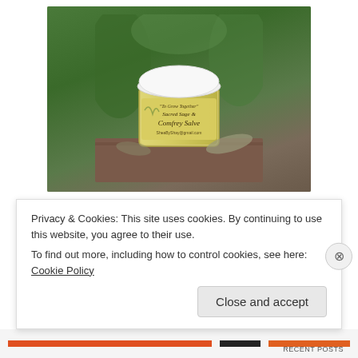[Figure (photo): A glass jar of Sacred Sage & Comfrey Salve with a white lid, sitting on a wooden surface with green plants in the background. The label reads 'To Grow Together, Sacred Sage & Comfrey Salve, SheaByShay@gmail.com'.]
Sacred Sage & Comfrey Salve Ingredients:
comfrey leaf in extra virgin olive oil, raw shea butter, raw
Privacy & Cookies: This site uses cookies. By continuing to use this website, you agree to their use.
To find out more, including how to control cookies, see here: Cookie Policy
Close and accept